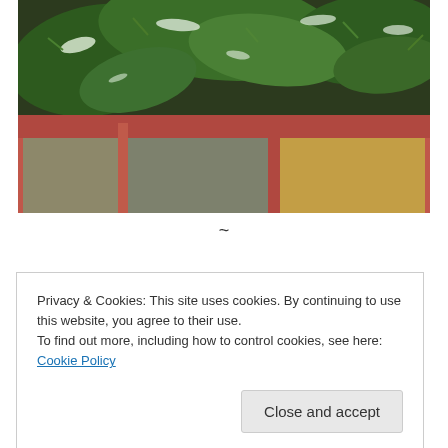[Figure (photo): Close-up photograph of evergreen pine/fir tree branches with snow tips draped over a red-painted wooden window frame, with blurred autumn foliage visible through the glass panes behind.]
~
Privacy & Cookies: This site uses cookies. By continuing to use this website, you agree to their use.
To find out more, including how to control cookies, see here: Cookie Policy
Close and accept